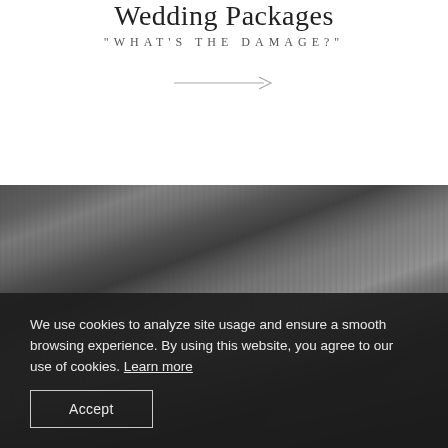Wedding Packages
"WHAT'S THE DAMAGE?"
[Figure (illustration): A horizontal arrow (line with arrowhead pointing right) used as a decorative divider element]
[Figure (photo): Black and white photograph showing an outdoor scene with large trees and foliage, with dark shadowed figures visible at the bottom]
We use cookies to analyze site usage and ensure a smooth browsing experience. By using this website, you agree to our use of cookies. Learn more
Accept